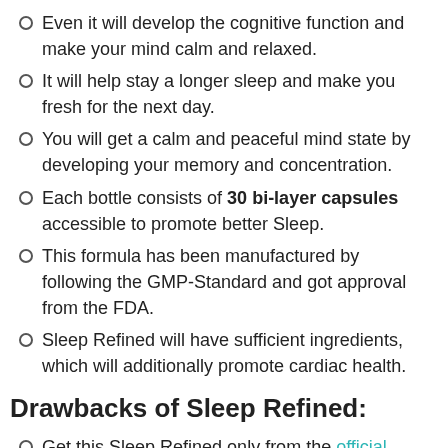Even it will develop the cognitive function and make your mind calm and relaxed.
It will help stay a longer sleep and make you fresh for the next day.
You will get a calm and peaceful mind state by developing your memory and concentration.
Each bottle consists of 30 bi-layer capsules accessible to promote better Sleep.
This formula has been manufactured by following the GMP-Standard and got approval from the FDA.
Sleep Refined will have sufficient ingredients, which will additionally promote cardiac health.
Drawbacks of Sleep Refined:
Get this Sleep Refined only from the official website, and there is no offline availability.